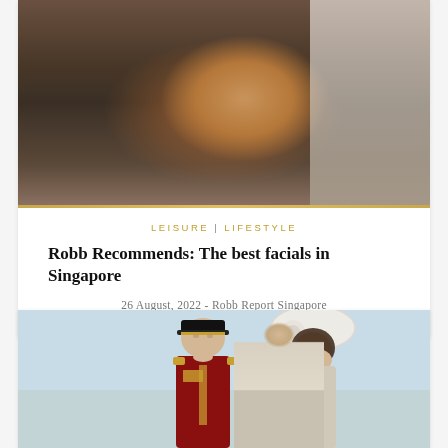[Figure (photo): Woman lying down receiving a facial treatment with a brown/orange clay mask applied to her face, being applied by a practitioner in white]
LEISURE | LIFESTYLE
Robb Recommends: The best facials in Singapore
26 August, 2022 - Robb Report Singapore
[Figure (photo): Prince William in military uniform and Kate Middleton in a white fascinator hat, standing together at a formal event]